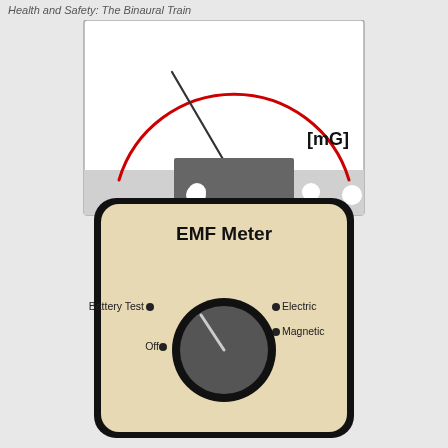Health and Safety: The Binaural Train
[Figure (illustration): An EMF Meter illustration showing a gauge face at the top with a red arc scale, a needle pointer leaning left, and the label [mG] in the upper right. Below is the meter body in beige/cream color with black rounded rectangle casing, labeled 'EMF Meter' at the top, and a rotary dial selector with four positions: Battery Test, Electric, Magnetic, and Off.]